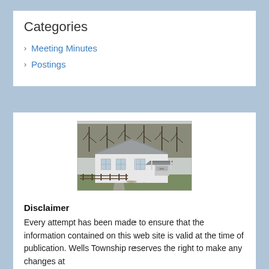Categories
Meeting Minutes
Postings
[Figure (photo): Exterior photo of a small white township hall building with a gable roof and a small covered entryway, surrounded by bare trees and a wooden fence, with a grassy area in front.]
Disclaimer
Every attempt has been made to ensure that the information contained on this web site is valid at the time of publication. Wells Township reserves the right to make any changes at